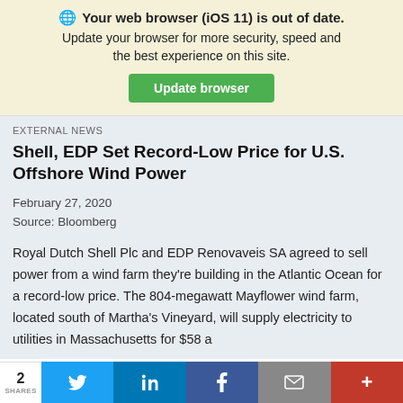🌐 Your web browser (iOS 11) is out of date. Update your browser for more security, speed and the best experience on this site. Update browser
EXTERNAL NEWS
Shell, EDP Set Record-Low Price for U.S. Offshore Wind Power
February 27, 2020
Source: Bloomberg
Royal Dutch Shell Plc and EDP Renovaveis SA agreed to sell power from a wind farm they're building in the Atlantic Ocean for a record-low price. The 804-megawatt Mayflower wind farm, located south of Martha's Vineyard, will supply electricity to utilities in Massachusetts for $58 a
2 SHARES | Twitter | LinkedIn | Facebook | Email | More